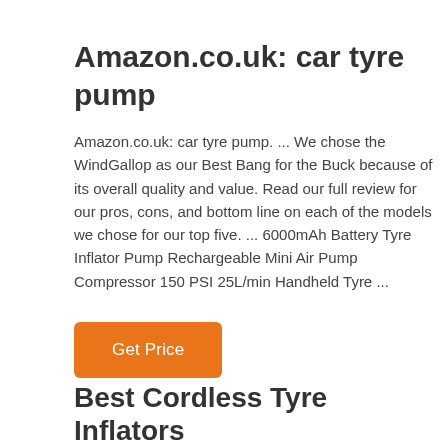Amazon.co.uk: car tyre pump
Amazon.co.uk: car tyre pump. ... We chose the WindGallop as our Best Bang for the Buck because of its overall quality and value. Read our full review for our pros, cons, and bottom line on each of the models we chose for our top five. ... 6000mAh Battery Tyre Inflator Pump Rechargeable Mini Air Pump Compressor 150 PSI 25L/min Handheld Tyre ...
Get Price
Best Cordless Tyre Inflators